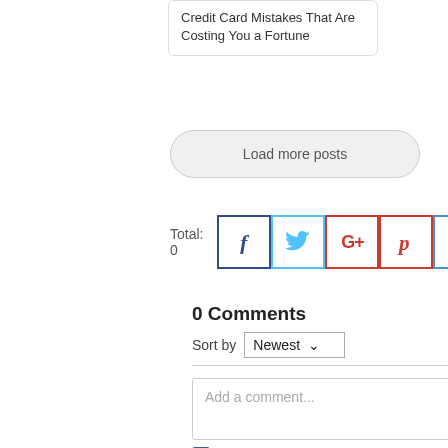Credit Card Mistakes That Are Costing You a Fortune
Load more posts
Total: 0
[Figure (infographic): Social share buttons: Facebook (f), Twitter bird, Google+, Pinterest (p), LinkedIn (in) — each in a bordered square, colored by brand.]
0 Comments
Sort by Newest
[Figure (screenshot): Comment text area with placeholder 'Add a comment...']
Facebook Comments Plugin